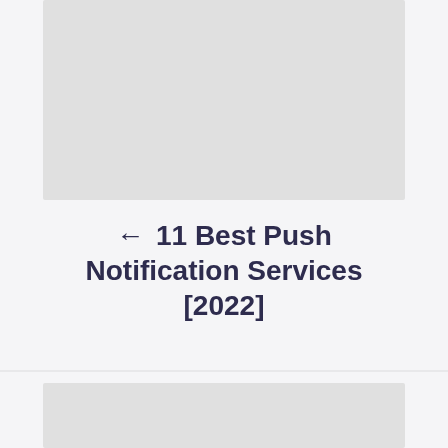[Figure (other): Gray placeholder image block at top of page]
← 11 Best Push Notification Services [2022]
[Figure (other): Gray placeholder image block at bottom of page]